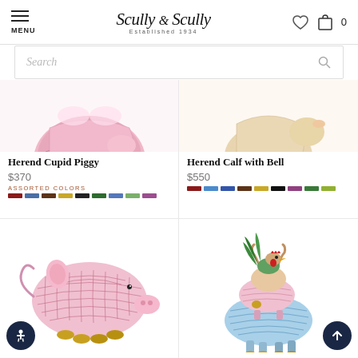MENU | Scully & Scully Established 1934 | ♡ 🛍 0
Search
[Figure (photo): Herend Cupid Piggy figurine - pink and gold ceramic pig, partially cropped at top]
Herend Cupid Piggy
$370
ASSORTED COLORS
[Figure (photo): Herend Calf with Bell figurine - animal figurine partially cropped at top]
Herend Calf with Bell
$550
[Figure (photo): Herend pig figurine with pink fishnet pattern and gold feet]
[Figure (photo): Herend stacked animals figurine - goat/deer with smaller animals on top, blue and pink fishnet pattern]